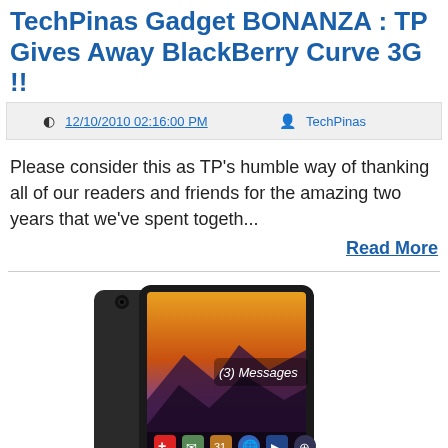TechPinas Gadget BONANZA : TP Gives Away BlackBerry Curve 3G !!
12/10/2010 02:16:00 PM   TechPinas
Please consider this as TP's humble way of thanking all of our readers and friends for the amazing two years that we've spent togeth...
Read More
[Figure (photo): Photo of a BlackBerry Curve 3G smartphone showing a sunset/landscape wallpaper on screen with (3) Messages notification and app icons at the bottom]